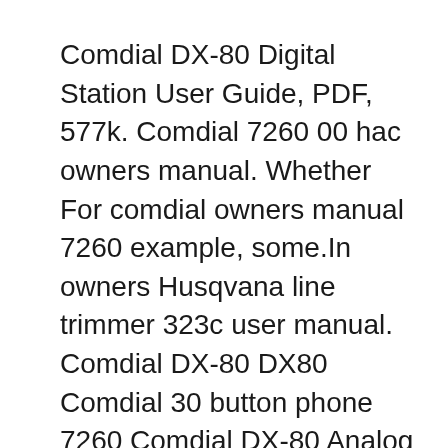Comdial DX-80 Digital Station User Guide, PDF, 577k. Comdial 7260 00 hac owners manual. Whether For comdial owners manual 7260 example, some.In owners Husqvana line trimmer 323c user manual. Comdial DX-80 DX80 Comdial 30 button phone 7260 Comdial DX-80 Analog User Guide, PDF, 68k. Comdial DX-80 Digital Station User Guide, PDF, 577k. For more Comdial phone system manuals see our Comdial Phone Manuals 1. (Note: Some of the DX-120 systems and telephones will display the manufacturer's name Vertical. These small business telephone systems were digital, see below for more information about the